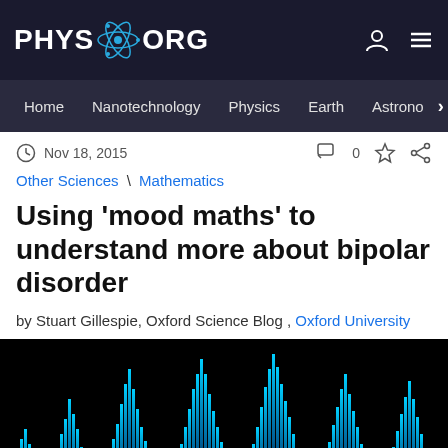PHYS.ORG
Home  Nanotechnology  Physics  Earth  Astrono  >
Nov 18, 2015   0
Other Sciences \ Mathematics
Using 'mood maths' to understand more about bipolar disorder
by Stuart Gillespie, Oxford Science Blog , Oxford University
[Figure (photo): Abstract blue sound wave / EEG waveform visualization on black background, representing mood or brain activity patterns]